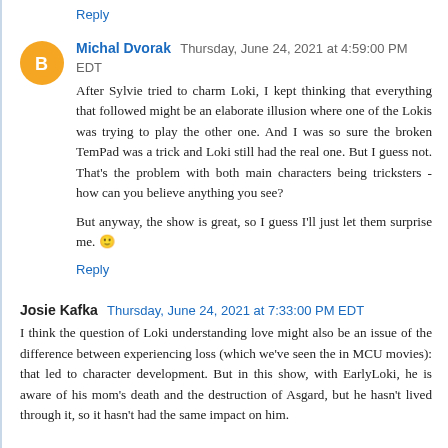Reply
Michal Dvorak  Thursday, June 24, 2021 at 4:59:00 PM EDT
After Sylvie tried to charm Loki, I kept thinking that everything that followed might be an elaborate illusion where one of the Lokis was trying to play the other one. And I was so sure the broken TemPad was a trick and Loki still had the real one. But I guess not. That's the problem with both main characters being tricksters - how can you believe anything you see?

But anyway, the show is great, so I guess I'll just let them surprise me. 🙂
Reply
Josie Kafka  Thursday, June 24, 2021 at 7:33:00 PM EDT
I think the question of Loki understanding love might also be an issue of the difference between experiencing loss (which we've seen the in MCU movies): that led to character development. But in this show, with EarlyLoki, he is aware of his mom's death and the destruction of Asgard, but he hasn't lived through it, so it hasn't had the same impact on him.